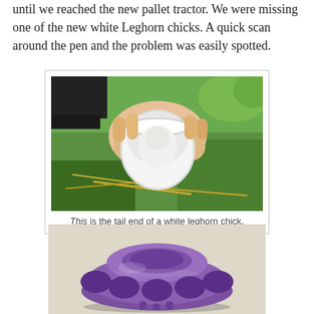until we reached the new pallet tractor. We were missing one of the new white Leghorn chicks. A quick scan around the pen and the problem was easily spotted.
[Figure (photo): A hand holds a white plastic container (like a feeder or waterer base) over grass and straw. Inside the container is a white leghorn chick wedged inside it.]
This is the tail end of a white leghorn chick.
[Figure (photo): A purple plastic poultry feeder base with multiple oval openings around its circumference, sitting on a light beige surface.]